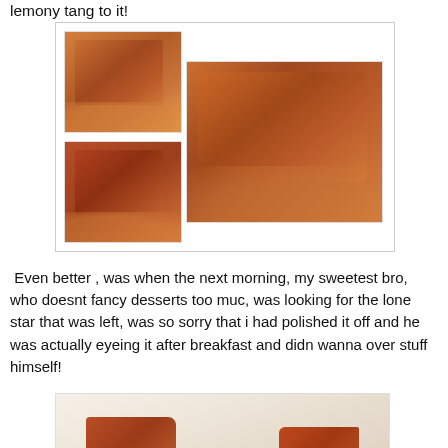lemony tang to it!
[Figure (photo): Collage of three food photos showing glazed/braised meat portions with sauce on white plates, arranged with two smaller images on the left and one larger image on the right.]
Even better , was when the next morning, my sweetest bro, who doesnt fancy desserts too muc, was looking for the lone star that was left, was so sorry that i had polished it off and he was actually eyeing it after breakfast and didn wanna over stuff himself!
[Figure (photo): Photo showing two remaining portions of glazed/braised dessert or meat on a white plate.]